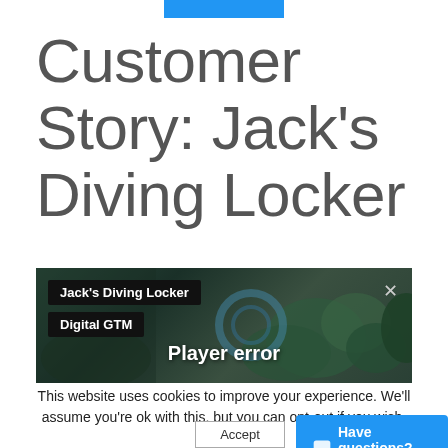Customer Story: Jack's Diving Locker
[Figure (screenshot): Video player showing underwater coral scene with tags 'Jack's Diving Locker' and 'Digital GTM', displaying a 'Player error' message and a close X button]
This website uses cookies to improve your experience. We'll assume you're ok with this, but you can opt-out if you wish.
Accept
Have questions? Chat now.